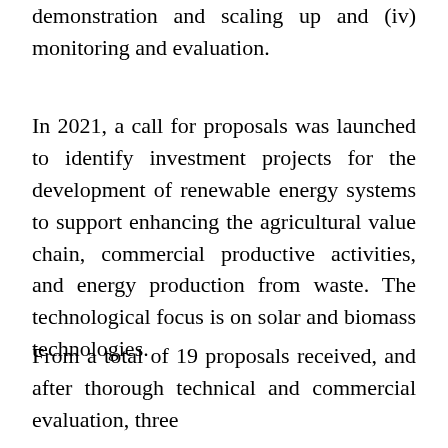demonstration and scaling up and (iv) monitoring and evaluation.
In 2021, a call for proposals was launched to identify investment projects for the development of renewable energy systems to support enhancing the agricultural value chain, commercial productive activities, and energy production from waste. The technological focus is on solar and biomass technologies.
From a total of 19 proposals received, and after thorough technical and commercial evaluation, three projects were selected to be demonstrated installed